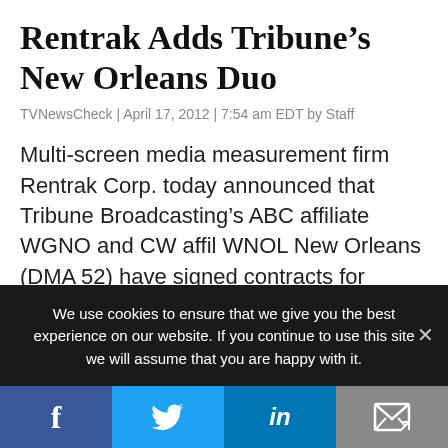Rentrak Adds Tribune’s New Orleans Duo
TVNewsCheck | April 17, 2012 | 7:54 am EDT by Staff
Multi-screen media measurement firm Rentrak Corp. today announced that Tribune Broadcasting’s ABC affiliate WGNO and CW affil WNOL New Orleans (DMA 52) have signed contracts for Rentrak’s StationView Essentials service. “Tribune is looking forward to being on the street with Rentrak’s ratings information,”
We use cookies to ensure that we give you the best experience on our website. If you continue to use this site we will assume that you are happy with it.
[Figure (infographic): Social media sharing bar with Facebook, Twitter, LinkedIn, and email/share icons]